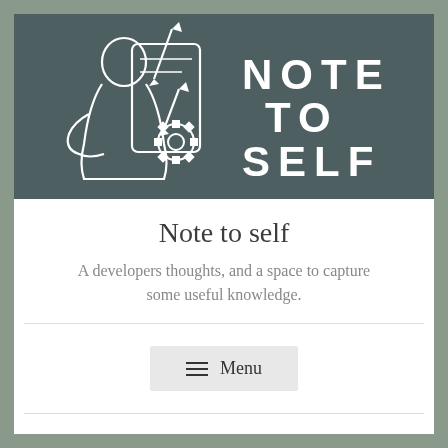[Figure (logo): Note to Self logo: dark teal/gray banner with a white line-art illustration of a person writing on a smartphone/tablet with a gear, and large spaced white text reading NOTE TO SELF]
Note to self
A developers thoughts, and a space to capture some useful knowledge.
[Figure (other): Menu button with hamburger icon lines and text 'Menu']